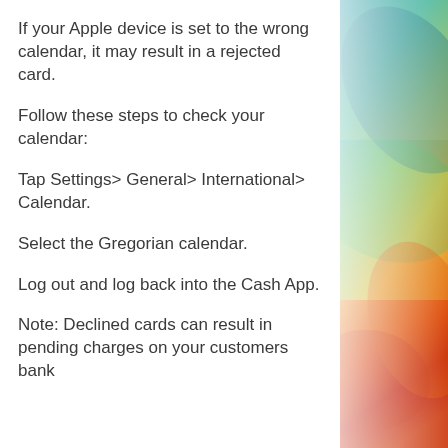If your Apple device is set to the wrong calendar, it may result in a rejected card.
Follow these steps to check your calendar:
Tap Settings> General> International> Calendar.
Select the Gregorian calendar.
Log out and log back into the Cash App.
Note: Declined cards can result in pending charges on your customers bank
[Figure (photo): Colorful abstract swirl background with blue, green, yellow, orange, and red hues on the right side of the page.]